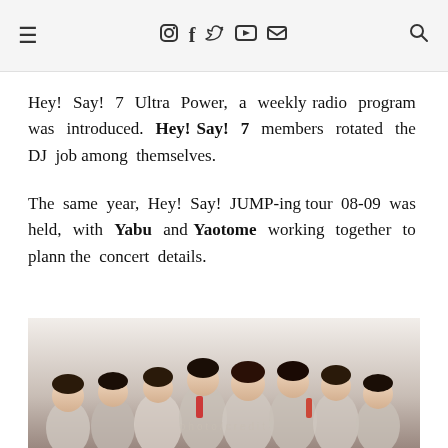☰  [instagram] [facebook] [twitter] [youtube] [email]  [search]
Hey! Say! 7 Ultra Power, a weekly radio program was introduced. Hey! Say! 7 members rotated the DJ job among themselves.
The same year, Hey! Say! JUMP-ing tour 08-09 was held, with Yabu and Yaotome working together to plann the concert details.
[Figure (photo): Group photo of Hey! Say! JUMP members, young Japanese male pop group in school-style uniforms with ties and bow ties, smiling at camera]